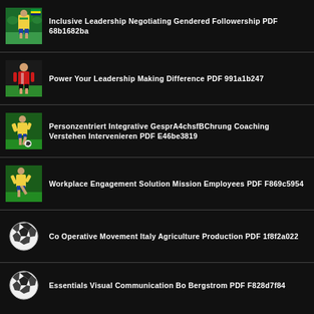Inclusive Leadership Negotiating Gendered Followership PDF 68b1682ba
Power Your Leadership Making Difference PDF 991a1b247
Personzentriert Integrative GesprA4chsfBChrung Coaching Verstehen Intervenieren PDF E46be3819
Workplace Engagement Solution Mission Employees PDF F869c5954
Co Operative Movement Italy Agriculture Production PDF 1f8f2a022
Essentials Visual Communication Bo Bergstrom PDF F828d7f84